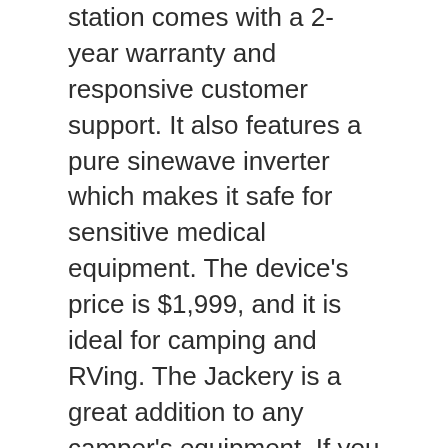station comes with a 2-year warranty and responsive customer support. It also features a pure sinewave inverter which makes it safe for sensitive medical equipment. The device's price is $1,999, and it is ideal for camping and RVing. The Jackery is a great addition to any camper's equipment. If you want to charge your device in a remote location, a Jackery is an excellent choice.
The Jackery is a great choice for RV vacations and camping trips. It is lightweight and a great option for charging your phone. Its monocrystalline silicon solar cell design makes it easy to mount on a roof, or on a picnic table. The Jackery uses prismatic cells, which are more efficient than cylindrical cells. The panels can last from 500 to 5000